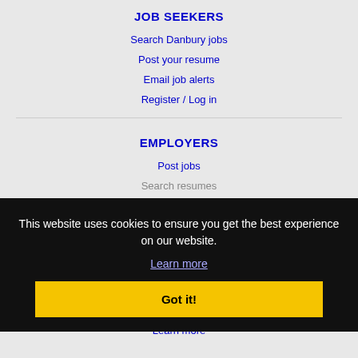JOB SEEKERS
Search Danbury jobs
Post your resume
Email job alerts
Register / Log in
EMPLOYERS
Post jobs
Search resumes
Email resume alerts
Advertise
IMMIGRATION SPECIALISTS
Post jobs
Immigration FAQs
Learn more
This website uses cookies to ensure you get the best experience on our website.
Learn more
Got it!